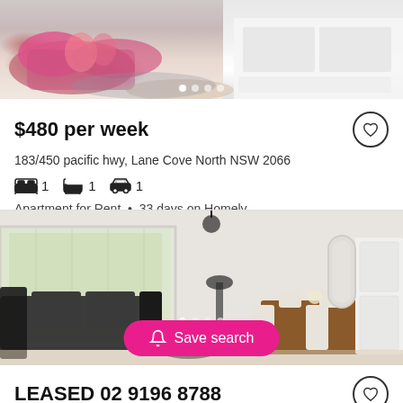[Figure (photo): Interior photo of a furnished apartment showing pink sofa, decorative pillows, and white TV unit/shelving in the background]
$480 per week
183/450 pacific hwy, Lane Cove North NSW 2066
1 bedroom, 1 bathroom, 1 parking space
Apartment for Rent • 33 days on Homely
[Figure (photo): Interior photo of a bright open-plan living and dining room with black leather sofas, white dining chairs, wooden dining table, large windows with garden view, white cabinet/display unit, and arched mirror]
LEASED 02 9196 8788